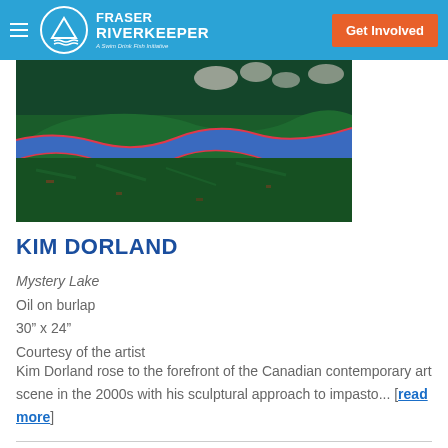Fraser Riverkeeper — Get Involved
[Figure (photo): A close-up painting of an abstract landscape with dark green textured hills, a vivid blue wavy band suggesting water, pink outlines, and glimpses of red and white shapes at the top, executed in thick impasto oil on burlap.]
KIM DORLAND
Mystery Lake
Oil on burlap
30" x 24"
Courtesy of the artist
Kim Dorland rose to the forefront of the Canadian contemporary art scene in the 2000s with his sculptural approach to impasto... [read more]